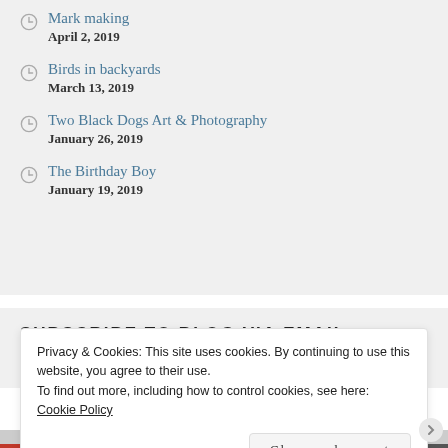Mark making
April 2, 2019
Birds in backyards
March 13, 2019
Two Black Dogs Art & Photography
January 26, 2019
The Birthday Boy
January 19, 2019
SUBSCRIBE TO BLOG VIA EMAIL
Privacy & Cookies: This site uses cookies. By continuing to use this website, you agree to their use.
To find out more, including how to control cookies, see here: Cookie Policy
Close and accept